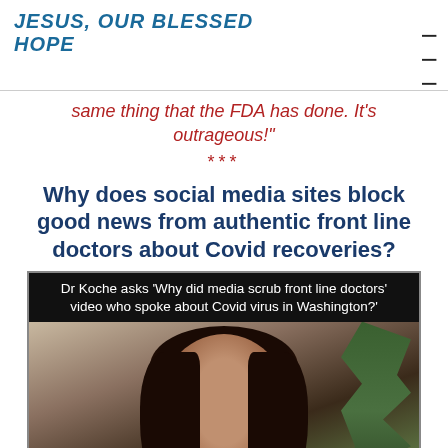JESUS, OUR BLESSED HOPE
same thing that the FDA has done. It's outrageous!"
***
Why does social media sites block good news from authentic front line doctors about Covid recoveries?
[Figure (screenshot): Video screenshot showing Dr Koche with caption: Dr Koche asks 'Why did media scrub front line doctors' video who spoke about Covid virus in Washington?']